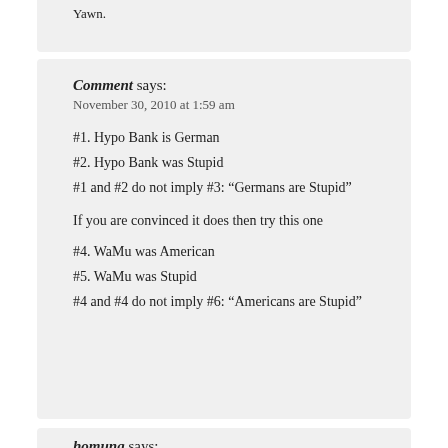Yawn.
Comment says:
November 30, 2010 at 1:59 am
#1. Hypo Bank is German
#2. Hypo Bank was Stupid
#1 and #2 do not imply #3: “Germans are Stupid”
If you are convinced it does then try this one
#4. WaMu was American
#5. WaMu was Stupid
#4 and #4 do not imply #6: “Americans are Stupid”
homung says: